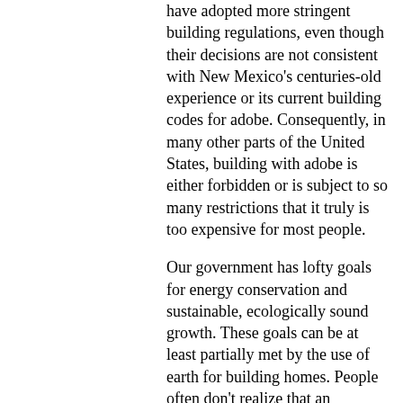have adopted more stringent building regulations, even though their decisions are not consistent with New Mexico's centuries-old experience or its current building codes for adobe. Consequently, in many other parts of the United States, building with adobe is either forbidden or is subject to so many restrictions that it truly is too expensive for most people.

Our government has lofty goals for energy conservation and sustainable, ecologically sound growth. These goals can be at least partially met by the use of earth for building homes. People often don't realize that an enormous quantity of energy that is required to manufacture many "conventional" building materials. For example, it requires the energy equivalent of one gallon of gasoline to manufacture eight common red bricks or five concrete blocks. This same gallon will make fifty or more big adobes, letting the sun